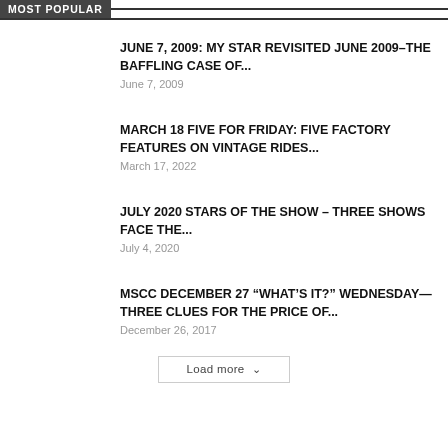MOST POPULAR
JUNE 7, 2009: MY STAR REVISITED JUNE 2009–The Baffling Case of...
June 7, 2009
MARCH 18 FIVE FOR FRIDAY: FIVE FACTORY FEATURES ON VINTAGE RIDES...
March 17, 2022
JULY 2020 STARS OF THE SHOW – THREE SHOWS FACE THE...
July 4, 2020
MSCC DECEMBER 27 “WHAT’S IT?” WEDNESDAY—THREE CLUES FOR THE PRICE OF...
December 26, 2017
Load more